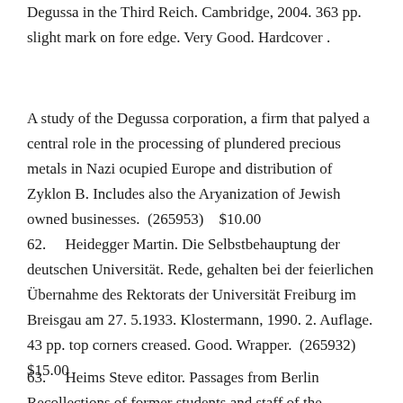Degussa in the Third Reich. Cambridge, 2004. 363 pp. slight mark on fore edge. Very Good. Hardcover.
A study of the Degussa corporation, a firm that palyed a central role in the processing of plundered precious metals in Nazi ocupied Europe and distribution of Zyklon B. Includes also the Aryanization of Jewish owned businesses. (265953)   $10.00
62.    Heidegger Martin. Die Selbstbehauptung der deutschen Universität. Rede, gehalten bei der feierlichen Übernahme des Rektorats der Universität Freiburg im Breisgau am 27. 5.1933. Klostermann, 1990. 2. Auflage. 43 pp. top corners creased. Good. Wrapper. (265932)   $15.00
63.    Heims Steve editor. Passages from Berlin Recollections of former students and staff of the